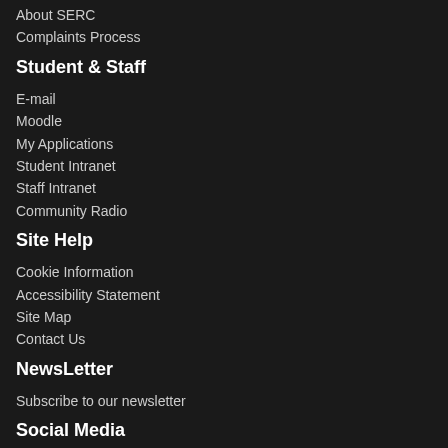About SERC
Complaints Process
Student & Staff
E-mail
Moodle
My Applications
Student Intranet
Staff Intranet
Community Radio
Site Help
Cookie Information
Accessibility Statement
Site Map
Contact Us
NewsLetter
Subscribe to our newsletter
Social Media